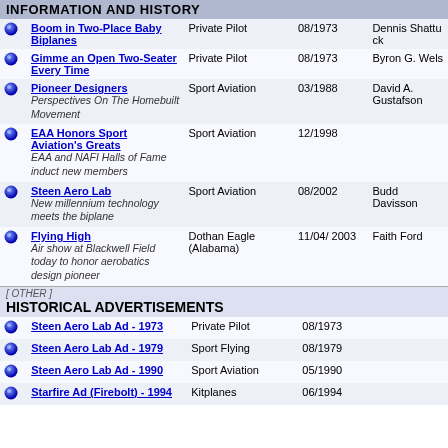INFORMATION AND HISTORY
|  | Title | Publication | Date | Author |
| --- | --- | --- | --- | --- |
| • | Boom in Two-Place Baby Biplanes | Private Pilot | 08/1973 | Dennis Shattuck |
| • | Gimme an Open Two-Seater Every Time | Private Pilot | 08/1973 | Byron G. Wels |
| • | Pioneer Designers / Perspectives On The Homebuilt Movement | Sport Aviation | 03/1988 | David A. Gustafson |
| • | EAA Honors Sport Aviation's Greats / EAA and NAFI Halls of Fame induct new members | Sport Aviation | 12/1998 |  |
| • | Steen Aero Lab / New millennium technology meets the biplane | Sport Aviation | 08/2002 | Budd Davisson |
| • | Flying High / Air show at Blackwell Field today to honor aerobatics design pioneer | Dothan Eagle (Alabama) | 11/04/ 2003 | Faith Ford |
HISTORICAL ADVERTISEMENTS
|  | Title | Publication | Date | Author |
| --- | --- | --- | --- | --- |
| • | Steen Aero Lab Ad - 1973 | Private Pilot | 08/1973 |  |
| • | Steen Aero Lab Ad - 1979 | Sport Flying | 08/1979 |  |
| • | Steen Aero Lab Ad - 1990 | Sport Aviation | 05/1990 |  |
| • | Starfire Ad (Firebolt) - 1994 | Kitplanes | 06/1994 |  |